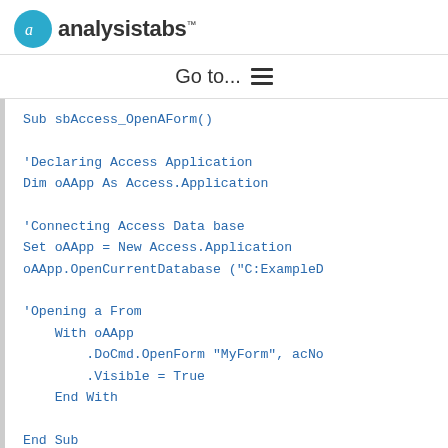analysistabs™
Go to... ≡
Sub sbAccess_OpenAForm()

'Declaring Access Application
Dim oAApp As Access.Application

'Connecting Access Data base
Set oAApp = New Access.Application
oAApp.OpenCurrentDatabase ("C:ExampleD

'Opening a From
    With oAApp
        .DoCmd.OpenForm "MyForm", acNo
        .Visible = True
    End With

End Sub